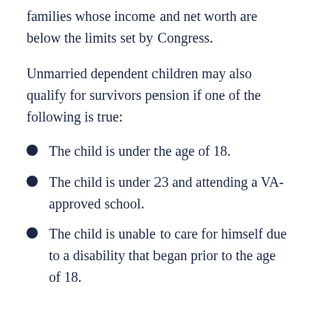families whose income and net worth are below the limits set by Congress.
Unmarried dependent children may also qualify for survivors pension if one of the following is true:
The child is under the age of 18.
The child is under 23 and attending a VA-approved school.
The child is unable to care for himself due to a disability that began prior to the age of 18.